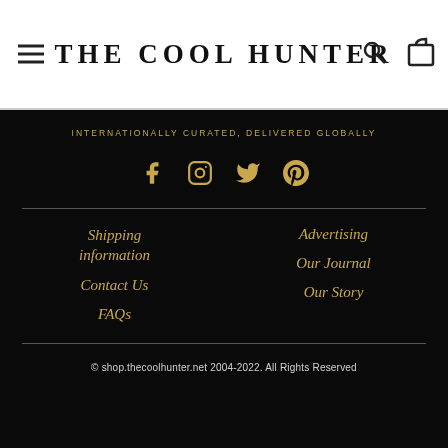THE COOL HUNTER
INTERNATIONALLY CURATED, DELIVERED GLOBALLY
[Figure (infographic): Social media icons: Facebook, Instagram, Twitter, Pinterest in gold color on black background]
Shipping information
Contact Us
FAQs
Advertising
Our Journal
Our Story
© shop.thecoolhunter.net 2004-2022. All Rights Reserved